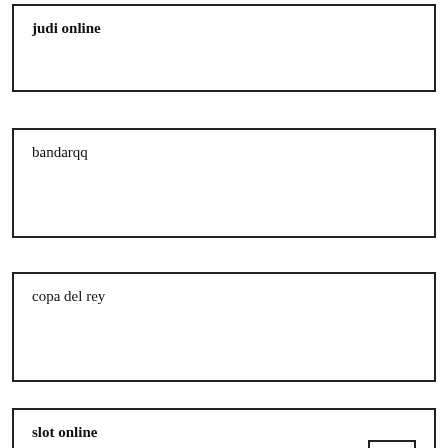judi online
bandarqq
copa del rey
slot online